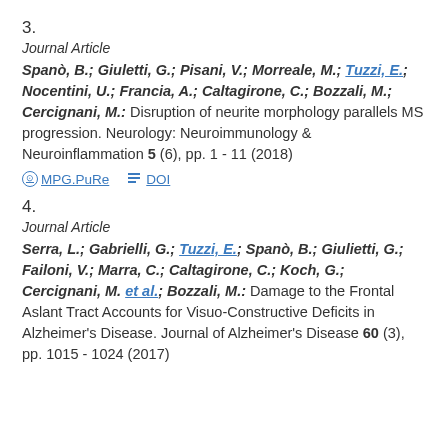3.
Journal Article
Spanò, B.; Giuletti, G.; Pisani, V.; Morreale, M.; Tuzzi, E.; Nocentini, U.; Francia, A.; Caltagirone, C.; Bozzali, M.; Cercignani, M.: Disruption of neurite morphology parallels MS progression. Neurology: Neuroimmunology & Neuroinflammation 5 (6), pp. 1 - 11 (2018)
MPG.PuRe   DOI
4.
Journal Article
Serra, L.; Gabrielli, G.; Tuzzi, E.; Spanò, B.; Giulietti, G.; Failoni, V.; Marra, C.; Caltagirone, C.; Koch, G.; Cercignani, M. et al.; Bozzali, M.: Damage to the Frontal Aslant Tract Accounts for Visuo-Constructive Deficits in Alzheimer's Disease. Journal of Alzheimer's Disease 60 (3), pp. 1015 - 1024 (2017)